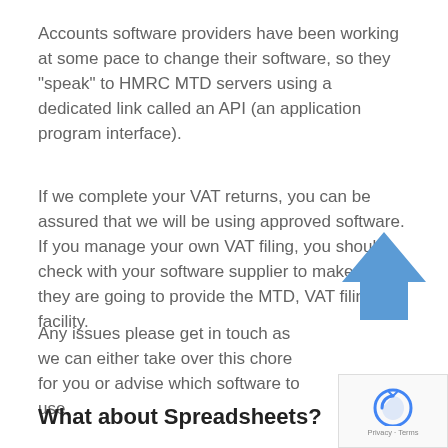Accounts software providers have been working at some pace to change their software, so they “speak” to HMRC MTD servers using a dedicated link called an API (an application program interface).
If we complete your VAT returns, you can be assured that we will be using approved software. If you manage your own VAT filing, you should check with your software supplier to make sure they are going to provide the MTD, VAT filing facility.
Any issues please get in touch as we can either take over this chore for you or advise which software to use.
[Figure (illustration): Blue upward-pointing arrow icon]
[Figure (screenshot): reCAPTCHA Privacy - Terms widget]
What about Spreadsheets?